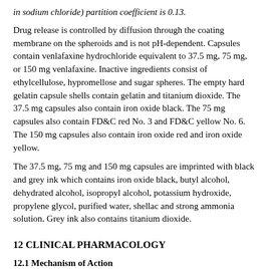in sodium chloride) partition coefficient is 0.13.
Drug release is controlled by diffusion through the coating membrane on the spheroids and is not pH-dependent. Capsules contain venlafaxine hydrochloride equivalent to 37.5 mg, 75 mg, or 150 mg venlafaxine. Inactive ingredients consist of ethylcellulose, hypromellose and sugar spheres. The empty hard gelatin capsule shells contain gelatin and titanium dioxide. The 37.5 mg capsules also contain iron oxide black. The 75 mg capsules also contain FD&C red No. 3 and FD&C yellow No. 6. The 150 mg capsules also contain iron oxide red and iron oxide yellow.
The 37.5 mg, 75 mg and 150 mg capsules are imprinted with black and grey ink which contains iron oxide black, butyl alcohol, dehydrated alcohol, isopropyl alcohol, potassium hydroxide, propylene glycol, purified water, shellac and strong ammonia solution. Grey ink also contains titanium dioxide.
12 CLINICAL PHARMACOLOGY
12.1 Mechanism of Action
The exact mechanism of the antidepressant action of venlafaxine in humans is unknown, but is thought to be related to the potentiation of serotonin and norepinephrine in the central nervous system, through inhibition of their reuptake. Non-